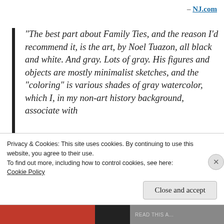– NJ.com
“The best part about Family Ties, and the reason I’d recommend it, is the art, by Noel Tuazon, all black and white. And gray. Lots of gray. His figures and objects are mostly minimalist sketches, and the “coloring” is various shades of gray watercolor, which I, in my non-art history background, associate with
Privacy & Cookies: This site uses cookies. By continuing to use this website, you agree to their use.
To find out more, including how to control cookies, see here:
Cookie Policy
Close and accept